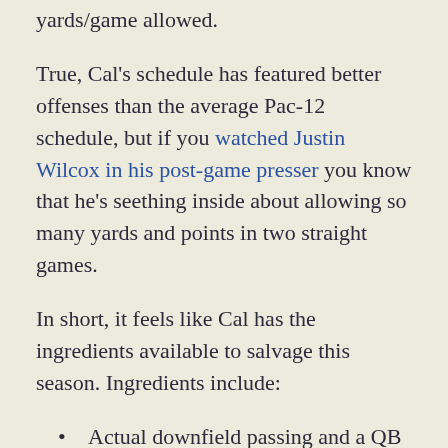yards/game allowed.
True, Cal's schedule has featured better offenses than the average Pac-12 schedule, but if you watched Justin Wilcox in his post-game presser you know that he's seething inside about allowing so many yards and points in two straight games.
In short, it feels like Cal has the ingredients available to salvage this season. Ingredients include:
Actual downfield passing and a QB hitting on enough deep shots to get explosive plays and keep a defense honest.
An offensive line that for three straight